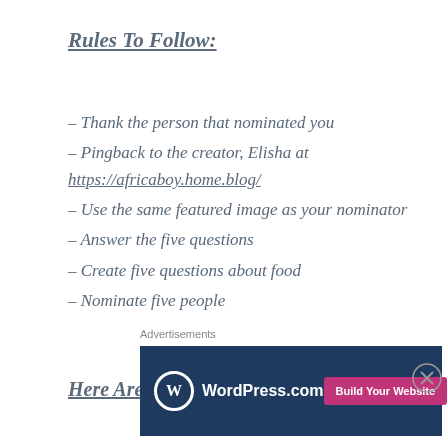Rules To Follow:
– Thank the person that nominated you
– Pingback to the creator, Elisha at https://africaboy.home.blog/
– Use the same featured image as your nominator
– Answer the five questions
– Create five questions about food
– Nominate five people
Here Are The Questions:
1  What do you usually have for breakfast?
Advertisements
[Figure (other): WordPress.com advertisement banner with 'Build Your Website' button]